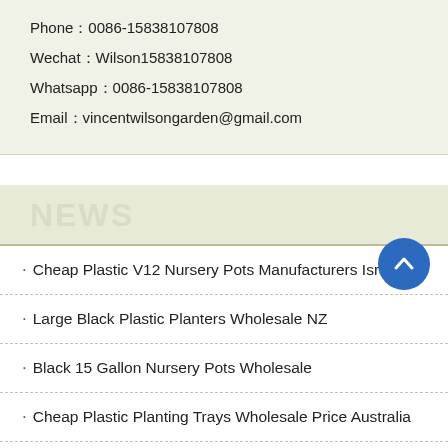Phone：0086-15838107808
Wechat：Wilson15838107808
Whatsapp：0086-15838107808
Email：vincentwilsongarden@gmail.com
NEWS
· Cheap Plastic V12 Nursery Pots Manufacturers Israel
· Large Black Plastic Planters Wholesale NZ
· Black 15 Gallon Nursery Pots Wholesale
· Cheap Plastic Planting Trays Wholesale Price Australia
· Heavy Duty Plastic Plant Pots Factory South Korea